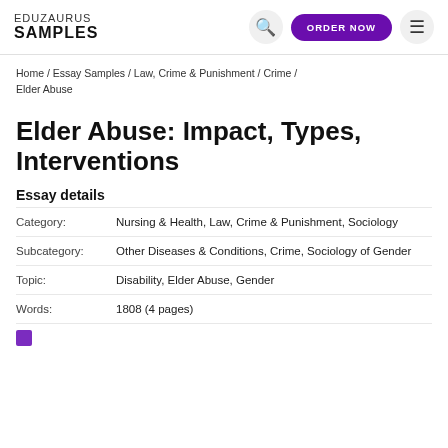EDUZAURUS SAMPLES
Home / Essay Samples / Law, Crime & Punishment / Crime / Elder Abuse
Elder Abuse: Impact, Types, Interventions
Essay details
| Field | Value |
| --- | --- |
| Category: | Nursing & Health, Law, Crime & Punishment, Sociology |
| Subcategory: | Other Diseases & Conditions, Crime, Sociology of Gender |
| Topic: | Disability, Elder Abuse, Gender |
| Words: | 1808 (4 pages) |